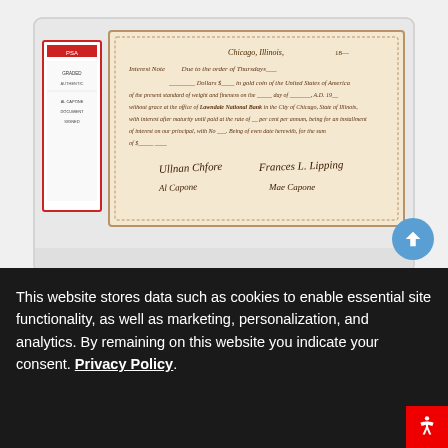[Figure (photo): A PSA-graded Al Capone document signed, encased in a clear plastic slab with a red PSA label on the left side. The document appears to be an interest note from Chicago, Illinois, with handwritten text and signatures.]
6147. Al Capone Document Signed
Now At: $9,503 (11 bids)
Estimate: $20,000+
Ends on 09/22
This website stores data such as cookies to enable essential site functionality, as well as marketing, personalization, and analytics. By remaining on this website you indicate your consent. Privacy Policy